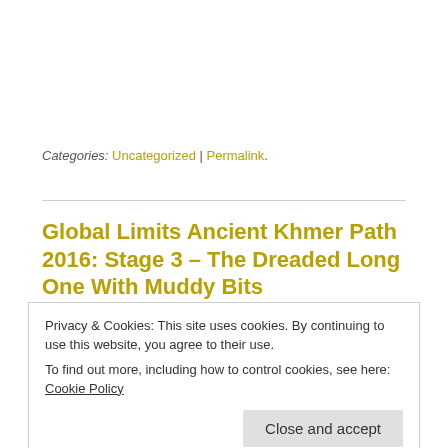Categories: Uncategorized | Permalink.
Global Limits Ancient Khmer Path 2016: Stage 3 – The Dreaded Long One With Muddy Bits
Privacy & Cookies: This site uses cookies. By continuing to use this website, you agree to their use.
To find out more, including how to control cookies, see here: Cookie Policy
Close and accept